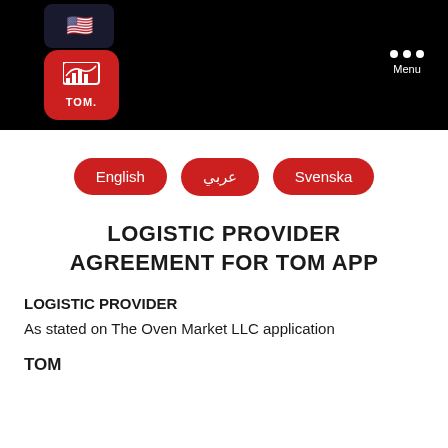[Figure (screenshot): Black app header bar with US flag icon, TOM app red logo box, and three-dot menu with 'Menu' label]
English
عربي
Svenska
LOGISTIC PROVIDER AGREEMENT FOR TOM APP
LOGISTIC PROVIDER
As stated on The Oven Market LLC application
TOM